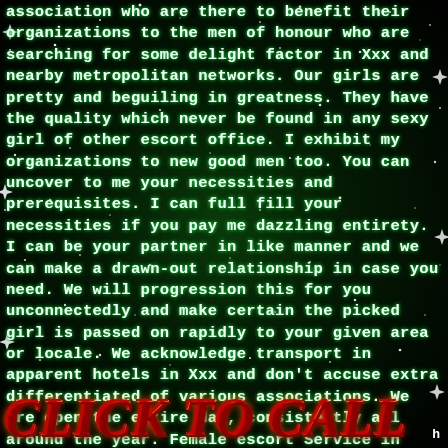association who are there to benefit their organizations to the men of honour who are searching for some delight factor in Xxx and nearby metropolitan networks. Our girls are pretty and beguiling in greatness. They have the quality which never be found in any sexy girl of other escort office. I exhibit my organizations to new good men too. You can uncover to me your necessities and prerequisites. I can full fill your necessities if you pay me dazzling entirety. I can be your partner in like manner and we can make a drawn-out relationship in case you need. We will progression this for you unconnectedly and make certain the picked girl is passed on rapidly to your given area or locale. We acknowledge transport in apparent hotels in Xxx and don't accuse extra differentiated of various associations. We are open the entire day, consistently all around the year. Female escort Service in Xxx, Gandhinagar, Ahmedabad and We are giving all sort of Female Escort organizations
CLICK TO CALL